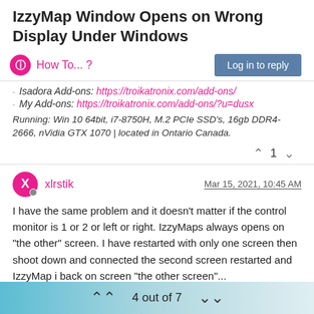IzzyMap Window Opens on Wrong Display Under Windows
How To... ?
Isadora Add-ons: https://troikatronix.com/add-ons/
My Add-ons: https://troikatronix.com/add-ons/?u=dusx
Running: Win 10 64bit, i7-8750H, M.2 PCIe SSD's, 16gb DDR4-2666, nVidia GTX 1070 | located in Ontario Canada.
xlrstik  Mar 15, 2021, 10:45 AM
I have the same problem and it doesn't matter if the control monitor is 1 or 2 or left or right. IzzyMaps always opens on "the other" screen. I have restarted with only one screen then shoot down and connected the second screen restarted and IzzyMap i back on screen "the other screen"...
Any ideas ?
4 out of 7